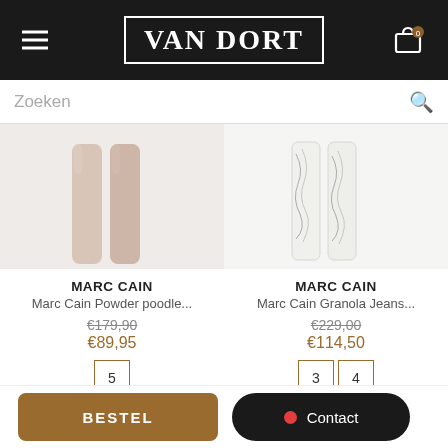VAN DORT
Zoeken
[Figure (photo): Marc Cain powder poodle item in pink/beige tones on light grey background]
MARC CAIN
Marc Cain Powder poodle...
€179,90
€89,95
5
[Figure (photo): Marc Cain Granola Jeans item with marble/white pattern on light background]
MARC CAIN
Marc Cain Granola Jeans...
€229,00
€114,50
3 4
BESTEL
Contact